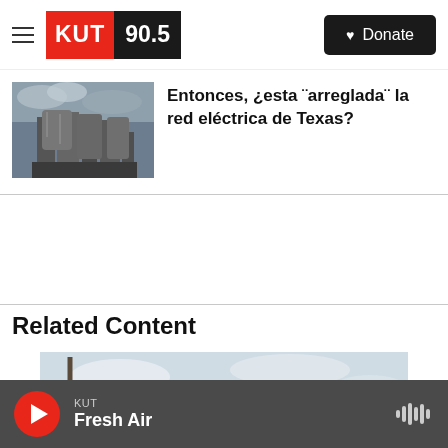KUT 90.5 — Donate
[Figure (screenshot): Thumbnail image of industrial electrical infrastructure with cooling towers under cloudy sky]
Entonces, ¿esta "arreglada" la red eléctrica de Texas?
Related Content
[Figure (photo): A red MetroRapid bus traveling on an elevated roadway with utility poles and wires in background]
KUT — Fresh Air